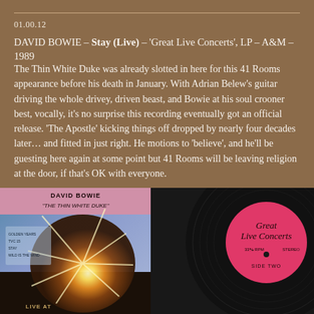01.00.12
DAVID BOWIE – Stay (Live) – 'Great Live Concerts', LP – A&M – 1989
The Thin White Duke was already slotted in here for this 41 Rooms appearance before his death in January. With Adrian Belew's guitar driving the whole drivey, driven beast, and Bowie at his soul crooner best, vocally, it's no surprise this recording eventually got an official release. 'The Apostle' kicking things off dropped by nearly four decades later… and fitted in just right. He motions to 'believe', and he'll be guesting here again at some point but 41 Rooms will be leaving religion at the door, if that's OK with everyone.
[Figure (photo): Left: David Bowie 'The Thin White Duke' album cover with fireworks/starburst imagery. Right: Pink vinyl record label reading 'Great Live Concerts' with 'STEREO', '33⅓ RPM', and 'SIDE TWO' text.]